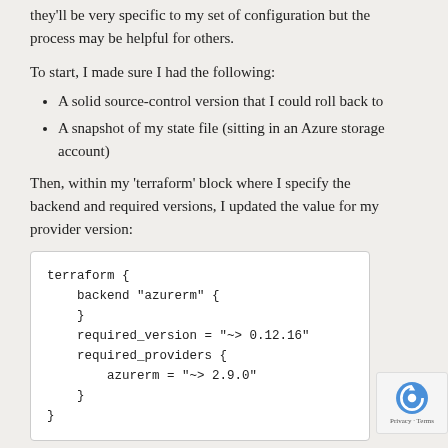they'll be very specific to my set of configuration but the process may be helpful for others.
To start, I made sure I had the following:
A solid source-control version that I could roll back to
A snapshot of my state file (sitting in an Azure storage account)
Then, within my 'terraform' block where I specify the backend and required versions, I updated the value for my provider version:
terraform {
  backend "azurerm" {
  }
  required_version = "~> 0.12.16"
  required_providers {
    azurerm = "~> 2.9.0"
  }
}